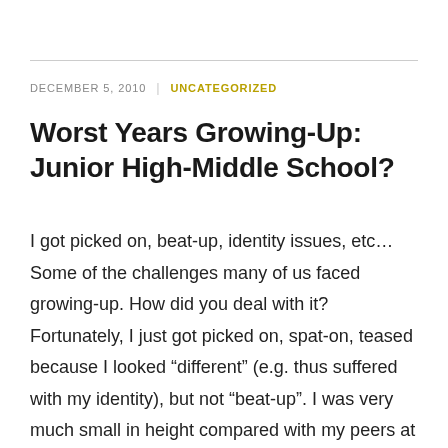DECEMBER 5, 2010 | UNCATEGORIZED
Worst Years Growing-Up: Junior High-Middle School?
I got picked on, beat-up, identity issues, etc… Some of the challenges many of us faced growing-up. How did you deal with it? Fortunately, I just got picked on, spat-on, teased because I looked “different” (e.g. thus suffered with my identity), but not “beat-up”. I was very much small in height compared with my peers at my school